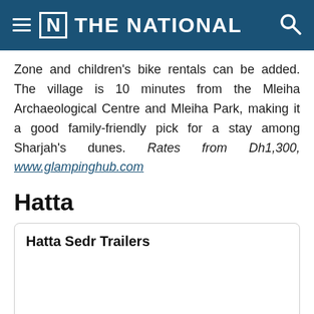≡ [N] THE NATIONAL
Zone and children's bike rentals can be added. The village is 10 minutes from the Mleiha Archaeological Centre and Mleiha Park, making it a good family-friendly pick for a stay among Sharjah's dunes. Rates from Dh1,300, www.glampinghub.com
Hatta
Hatta Sedr Trailers